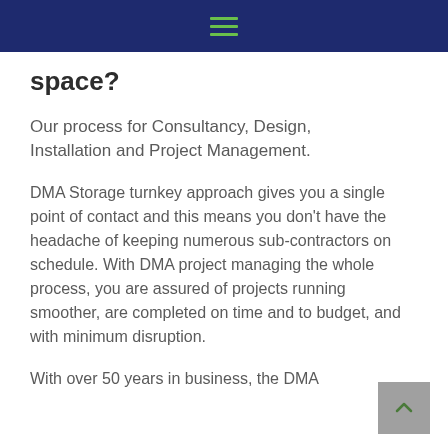☰
space?
Our process for Consultancy, Design, Installation and Project Management.
DMA Storage turnkey approach gives you a single point of contact and this means you don't have the headache of keeping numerous sub-contractors on schedule. With DMA project managing the whole process, you are assured of projects running smoother, are completed on time and to budget, and with minimum disruption.
With over 50 years in business, the DMA